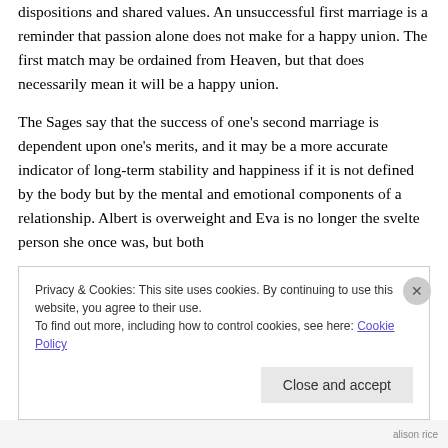dispositions and shared values. An unsuccessful first marriage is a reminder that passion alone does not make for a happy union. The first match may be ordained from Heaven, but that does necessarily mean it will be a happy union.
The Sages say that the success of one’s second marriage is dependent upon one’s merits, and it may be a more accurate indicator of long-term stability and happiness if it is not defined by the body but by the mental and emotional components of a relationship. Albert is overweight and Eva is no longer the svelte person she once was, but both
Privacy & Cookies: This site uses cookies. By continuing to use this website, you agree to their use.
To find out more, including how to control cookies, see here: Cookie Policy
Close and accept